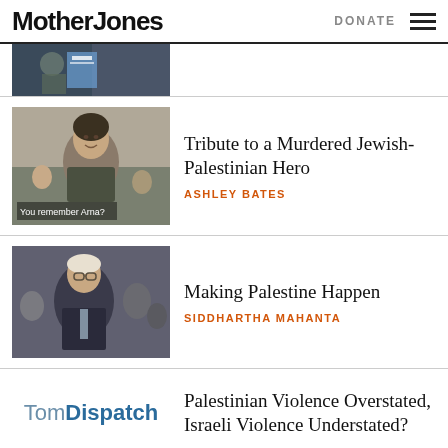Mother Jones | DONATE
[Figure (photo): Partial view of a photo showing a person near a UN flag]
Tribute to a Murdered Jewish-Palestinian Hero
ASHLEY BATES
Making Palestine Happen
SIDDHARTHA MAHANTA
[Figure (logo): TomDispatch logo]
Palestinian Violence Overstated, Israeli Violence Understated?